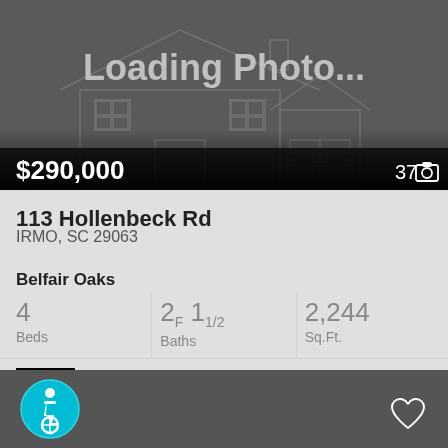[Figure (illustration): Real estate listing card showing a house placeholder image with 'Loading Photo...' text, price $290,000, photo count 37 with camera icon]
$290,000
37
113 Hollenbeck Rd
IRMO, SC 29063
Belfair Oaks
4 Beds
2F 11/2 Baths
2,244 Sq.Ft.
Opendoor Brokerage Llc
[Figure (illustration): Accessibility icon (wheelchair symbol) in teal circle, and heart/favorite icon on dark gray bottom bar]